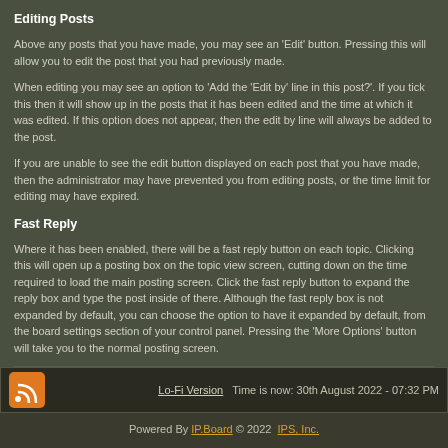Editing Posts
Above any posts that you have made, you may see an 'Edit' button. Pressing this will allow you to edit the post that you had previously made.
When editing you may see an option to 'Add the 'Edit by' line in this post?'. If you tick this then it will show up in the posts that it has been edited and the time at which it was edited. If this option does not appear, then the edit by line will always be added to the post.
If you are unable to see the edit button displayed on each post that you have made, then the administrator may have prevented you from editing posts, or the time limit for editing may have expired.
Fast Reply
Where it has been enabled, there will be a fast reply button on each topic. Clicking this will open up a posting box on the topic view screen, cutting down on the time required to load the main posting screen. Click the fast reply button to expand the reply box and type the post inside of there. Although the fast reply box is not expanded by default, you can choose the option to have it expanded by default, from the board settings section of your control panel. Pressing the 'More Options' button will take you to the normal posting screen.
Lo-Fi Version   Time is now: 30th August 2022 - 07:32 PM
Powered By IP.Board © 2022  IPS, Inc.